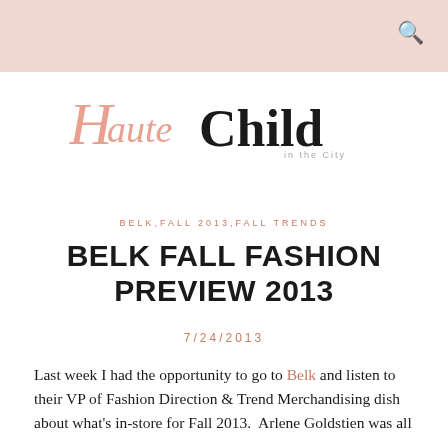[Figure (logo): Haute Child in the City blog logo — 'Haute' in italic salmon/rose script, 'Child' in large bold serif, 'in the City' in small spaced letters below]
BELK,FALL 2013,FALL TRENDS
BELK FALL FASHION PREVIEW 2013
7/24/2013
Last week I had the opportunity to go to Belk and listen to their VP of Fashion Direction & Trend Merchandising dish about what's in-store for Fall 2013.  Arlene Goldstien was all